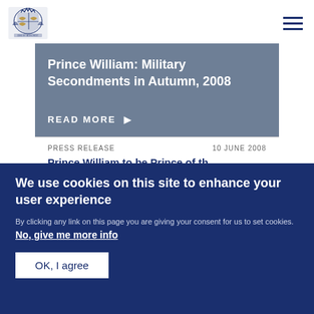Royal.uk logo and navigation menu
Prince William: Military Secondments in Autumn, 2008
Read more ▶
PRESS RELEASE   10 JUNE 2008
Prince William to be Prince of the...
We use cookies on this site to enhance your user experience
By clicking any link on this page you are giving your consent for us to set cookies. No, give me more info
OK, I agree